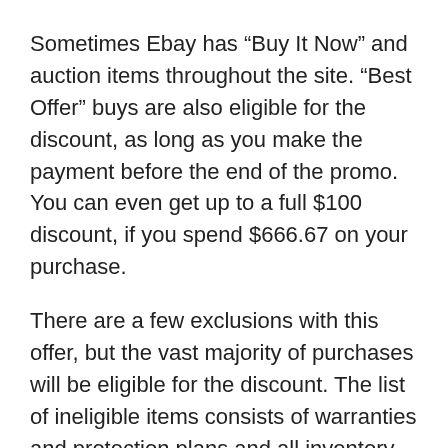Sometimes Ebay has “Buy It Now” and auction items throughout the site. “Best Offer” buys are also eligible for the discount, as long as you make the payment before the end of the promo. You can even get up to a full $100 discount, if you spend $666.67 on your purchase.
There are a few exclusions with this offer, but the vast majority of purchases will be eligible for the discount. The list of ineligible items consists of warranties and protection plans and all inventory from the Coins & Paper Money, Gift Cards & Coupons, and Real Estate categories.
These type of offers are also limited to one use per eBay account, and you can learn more about the full terms and conditions here in the original